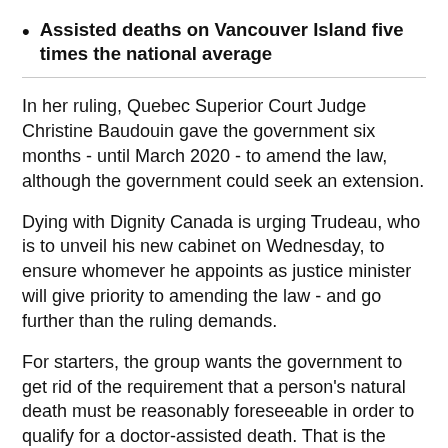Assisted deaths on Vancouver Island five times the national average
In her ruling, Quebec Superior Court Judge Christine Baudouin gave the government six months - until March 2020 - to amend the law, although the government could seek an extension.
Dying with Dignity Canada is urging Trudeau, who is to unveil his new cabinet on Wednesday, to ensure whomever he appoints as justice minister will give priority to amending the law - and go further than the ruling demands.
For starters, the group wants the government to get rid of the requirement that a person's natural death must be reasonably foreseeable in order to qualify for a doctor-assisted death. That is the provision struck down by Baudouin.